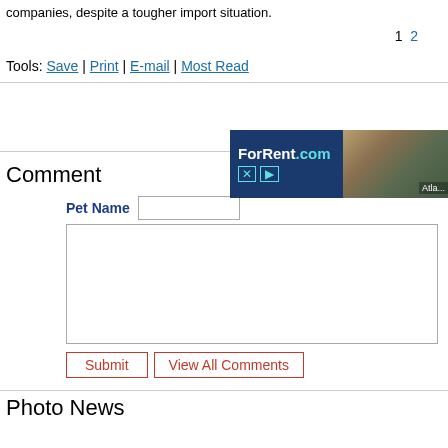companies, despite a tougher import situation.
1  2
Tools: Save | Print | E-mail | Most Read
[Figure (other): ForRent.com advertisement banner with apartment building photo and Atlanta label]
Comment
Pet Name [input field]
[comment textarea]
Submit  View All Comments
Photo News